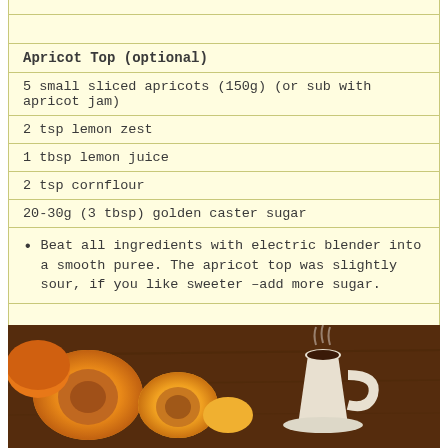Apricot Top (optional)
5 small sliced apricots (150g) (or sub with apricot jam)
2 tsp lemon zest
1 tbsp lemon juice
2 tsp cornflour
20-30g (3 tbsp) golden caster sugar
Beat all ingredients with electric blender into a smooth puree. The apricot top was slightly sour, if you like sweeter –add more sugar.
Enjoy!
[Figure (photo): Photo of apricots on a wooden table with a cup of tea/coffee in the background]